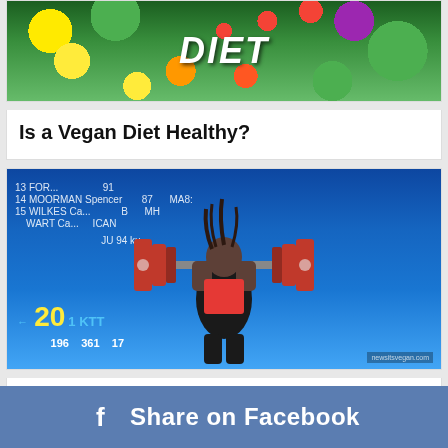[Figure (photo): Vegan diet promotional image with colorful fruits and vegetables, text overlay reading VEGAN DIET]
Is a Vegan Diet Healthy?
[Figure (photo): Male weightlifter performing a clean and jerk with heavy barbell loaded with red plates, competition scoreboard visible in background, watermark reading newsitsvegan.com]
Only Male US Weightlifter in Olympics is Vegan
Share on Facebook